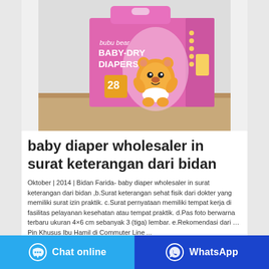[Figure (photo): Product photo of Bubu Bear Baby-Dry Diapers package, pink/purple box with cartoon bear, 28 pieces]
baby diaper wholesaler in surat keterangan dari bidan
Oktober | 2014 | Bidan Farida- baby diaper wholesaler in surat keterangan dari bidan ,b.Surat keterangan sehat fisik dari dokter yang memiliki surat izin praktik. c.Surat pernyataan memiliki tempat kerja di fasilitas pelayanan kesehatan atau tempat praktik. d.Pas foto berwarna terbaru ukuran 4×6 cm sebanyak 3 (tiga) lembar. e.Rekomendasi dari …Pin Khusus Ibu Hamil di Commuter Line ...